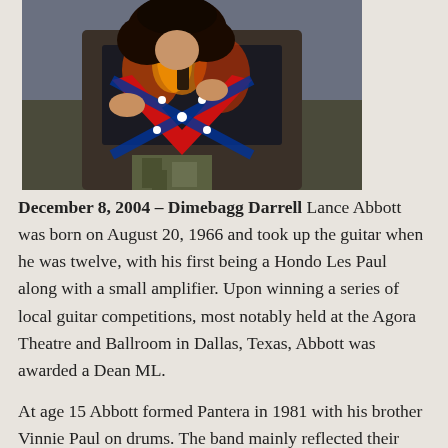[Figure (photo): A guitarist with curly hair playing a red Confederate flag-themed electric guitar, wearing a dark graphic t-shirt and camouflage pants, performing on stage.]
December 8, 2004 – Dimebagg Darrell Lance Abbott was born on August 20, 1966 and took up the guitar when he was twelve, with his first being a Hondo Les Paul along with a small amplifier. Upon winning a series of local guitar competitions, most notably held at the Agora Theatre and Ballroom in Dallas, Texas, Abbott was awarded a Dean ML.
At age 15 Abbott formed Pantera in 1981 with his brother Vinnie Paul on drums. The band mainly reflected their early influences in those days with thrash metal acts such as Slayer, Megadeth and